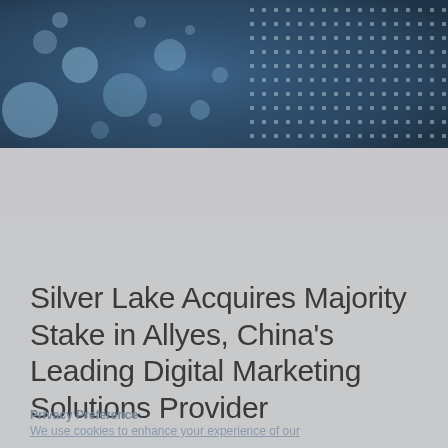[Figure (photo): Abstract technology background image with blue bokeh dots and digital grid pattern on dark blue background]
Silver Lake Acquires Majority Stake in Allyes, China's Leading Digital Marketing Solutions Provider
Privacy Preference
We use cookies to enhance your experience of our